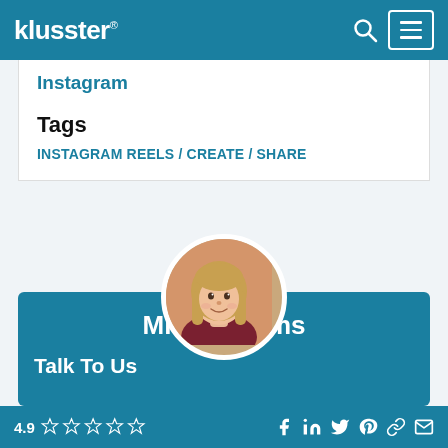klusster®
Instagram
Tags
INSTAGRAM REELS / CREATE / SHARE
[Figure (photo): Circular profile photo of Mila Williams, a young woman with long blonde hair, smiling]
Mila Williams
Talk To Us
4.9 ☆☆☆☆☆  Facebook LinkedIn Twitter Pinterest Link Email